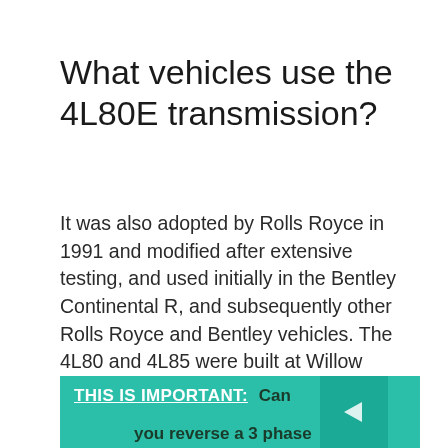What vehicles use the 4L80E transmission?
It was also adopted by Rolls Royce in 1991 and modified after extensive testing, and used initially in the Bentley Continental R, and subsequently other Rolls Royce and Bentley vehicles. The 4L80 and 4L85 were built at Willow Run Transmission in Ypsilanti, Michigan.
...
GM 4L80-E transmission.
THIS IS IMPORTANT:  Can you reverse a 3 phase